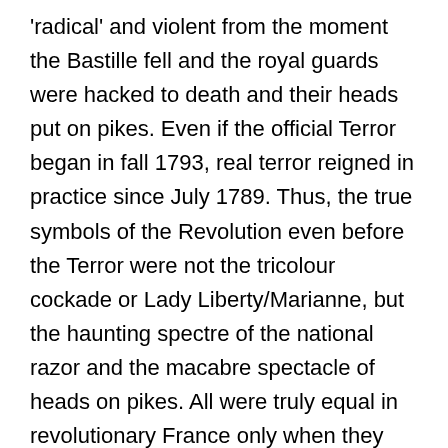'radical' and violent from the moment the Bastille fell and the royal guards were hacked to death and their heads put on pikes. Even if the official Terror began in fall 1793, real terror reigned in practice since July 1789. Thus, the true symbols of the Revolution even before the Terror were not the tricolour cockade or Lady Liberty/Marianne, but the haunting spectre of the national razor and the macabre spectacle of heads on pikes. All were truly equal in revolutionary France only when they stood in the shadow of the scaffold or before the fury of the mob. The Revolution betrayed its liberal ideals from the onset, and the fact that neither the National Assembly nor successive revolutionary legislatures ever condemned the popular violence speaks volumes. Where was their commitment to justice, to the rule of law? It was silent, shamed, and cowed before the threat of the mob. Bourgeoisie